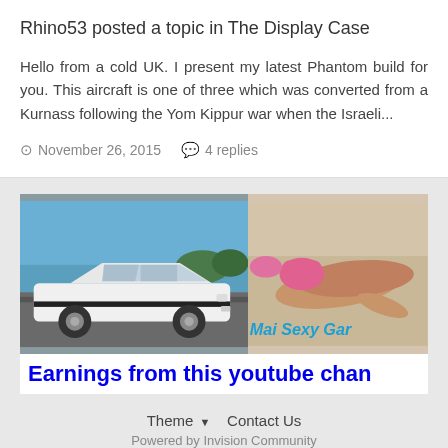Rhino53 posted a topic in The Display Case
Hello from a cold UK. I present my latest Phantom build for you. This aircraft is one of three which was converted from a Kurnass following the Yom Kippur war when the Israeli...
November 26, 2015   4 replies
[Figure (screenshot): Advertisement banner showing a white sports car on the left and a woman in a bikini on the right, with text 'Mai Sexy Gare' overlay and bottom bar reading 'Earnings from this youtube chan']
Theme ▼  Contact Us
Powered by Invision Community